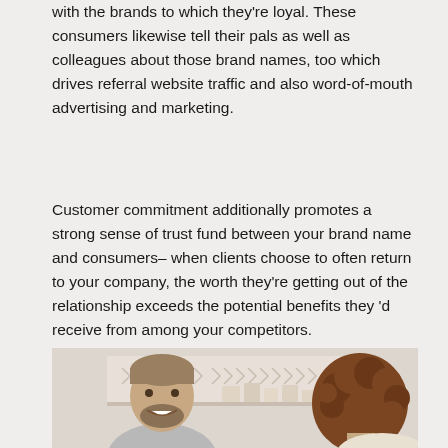with the brands to which they're loyal. These consumers likewise tell their pals as well as colleagues about those brand names, too which drives referral website traffic and also word-of-mouth advertising and marketing.
Customer commitment additionally promotes a strong sense of trust fund between your brand name and consumers– when clients choose to often return to your company, the worth they're getting out of the relationship exceeds the potential benefits they 'd receive from among your competitors.
[Figure (photo): A smiling bearded man in a grey t-shirt on the left, and a woman with curly hair viewed from behind on the right, in what appears to be a retail or office setting with shelves in the background.]